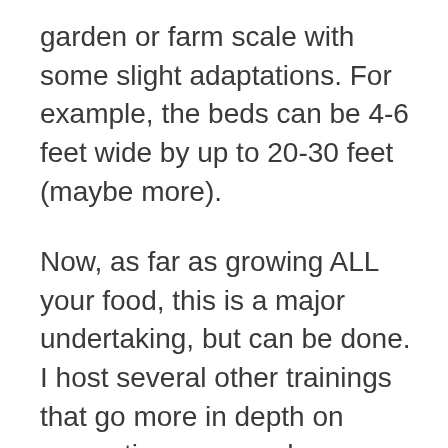garden or farm scale with some slight adaptations. For example, the beds can be 4-6 feet wide by up to 20-30 feet (maybe more).
Now, as far as growing ALL your food, this is a major undertaking, but can be done. I host several other trainings that go more in depth on converting your yard